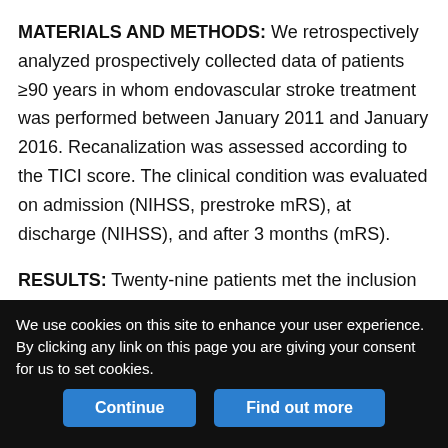MATERIALS AND METHODS: We retrospectively analyzed prospectively collected data of patients ≥90 years in whom endovascular stroke treatment was performed between January 2011 and January 2016. Recanalization was assessed according to the TICI score. The clinical condition was evaluated on admission (NIHSS, prestroke mRS), at discharge (NIHSS), and after 3 months (mRS).
RESULTS: Twenty-nine patients met the inclusion criteria for this analysis. The median prestroke mRS was 2. Successful recanalization (TICI ≥ 2b) was achieved in 22 patients (75.9%). In 9 patients, an NIHSS improvement ≥ 10 points was noted between admission and discharge. After 3 months, 17.2% of the patients had
We use cookies on this site to enhance your user experience. By clicking any link on this page you are giving your consent for us to set cookies.